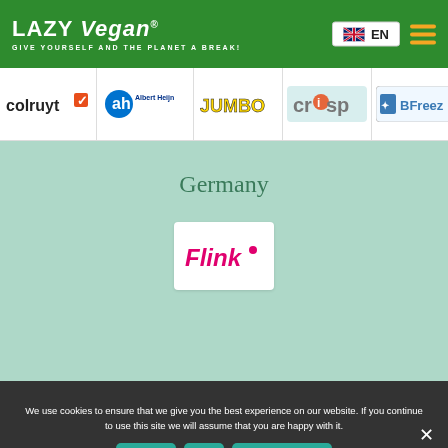LAZY Vegan® — GIVE YOURSELF AND THE PLANET A BREAK! EN
[Figure (logo): Colruyt store logo]
[Figure (logo): Albert Heijn store logo]
[Figure (logo): Jumbo store logo]
[Figure (logo): Crisp store logo]
[Figure (logo): BFreez store logo]
Germany
[Figure (logo): Flink store logo]
We use cookies to ensure that we give you the best experience on our website. If you continue to use this site we will assume that you are happy with it.
Accept   No   Privacy policy